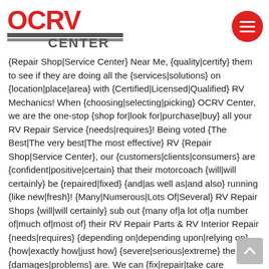OCRV Center logo and navigation menu button
{Repair Shop|Service Center} Near Me, {quality|certify} them to see if they are doing all the {services|solutions} on {location|place|area} with {Certified|Licensed|Qualified} RV Mechanics! When {choosing|selecting|picking} OCRV Center, we are the one-stop {shop for|look for|purchase|buy} all your RV Repair Service {needs|requires}! Being voted {The Best|The very best|The most effective} RV {Repair Shop|Service Center}, our {customers|clients|consumers} are {confident|positive|certain} that their motorcoach {will|will certainly} be {repaired|fixed} {and|as well as|and also} running {like new|fresh}! {Many|Numerous|Lots Of|Several} RV Repair Shops {will|will certainly} sub out {many of|a lot of|a number of|much of|most of} their RV Repair Parts & RV Interior Repair {needs|requires} {depending on|depending upon|relying on} {how|exactly how|just how} {severe|serious|extreme} the {damages|problems} are. We can {fix|repair|take care